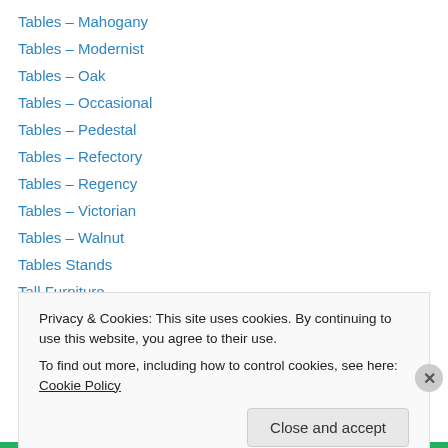Tables – Mahogany
Tables – Modernist
Tables – Oak
Tables – Occasional
Tables – Pedestal
Tables – Refectory
Tables – Regency
Tables – Victorian
Tables – Walnut
Tables Stands
Tall Furniture
Tall Side Tables
Tantalus Set
Privacy & Cookies: This site uses cookies. By continuing to use this website, you agree to their use.
To find out more, including how to control cookies, see here: Cookie Policy
Close and accept